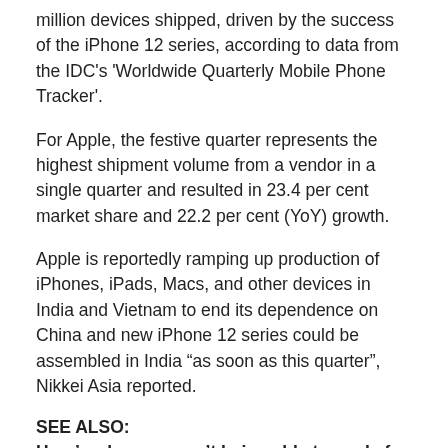million devices shipped, driven by the success of the iPhone 12 series, according to data from the IDC's 'Worldwide Quarterly Mobile Phone Tracker'.
For Apple, the festive quarter represents the highest shipment volume from a vendor in a single quarter and resulted in 23.4 per cent market share and 22.2 per cent (YoY) growth.
Apple is reportedly ramping up production of iPhones, iPads, Macs, and other devices in India and Vietnam to end its dependence on China and new iPhone 12 series could be assembled in India “as soon as this quarter”, Nikkei Asia reported.
SEE ALSO:
Here’s why you aren’t being able to apply for Brookfield REIT IPO through Zerodha, Groww and other stockbroking apps.